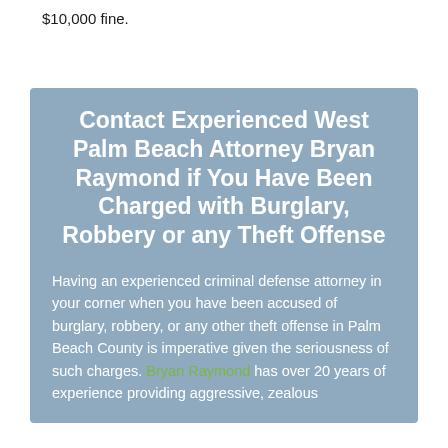$10,000 fine.
Contact Experienced West Palm Beach Attorney Bryan Raymond if You Have Been Charged with Burglary, Robbery or any Theft Offense
Having an experienced criminal defense attorney in your corner when you have been accused of burglary, robbery, or any other theft offense in Palm Beach County is imperative given the seriousness of such charges. Bryan Raymond has over 20 years of experience providing aggressive, zealous